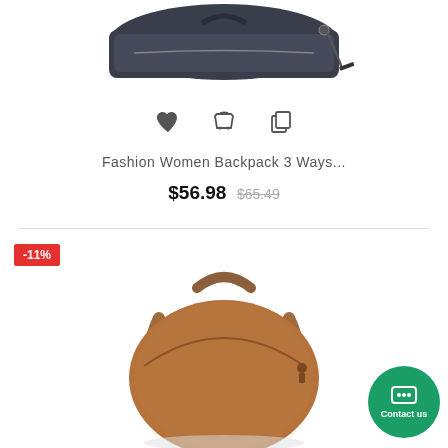[Figure (photo): Dark grey/navy fashion women backpack shown from above at an angle, partially cropped at top]
[Figure (infographic): Three action icons: heart (wishlist), basket (add to cart), copy/compare icon]
Fashion Women Backpack 3 Ways...
$56.98  $65.49
-11%
[Figure (photo): Brown leather small round backpack shown from the front on white background]
Contact us